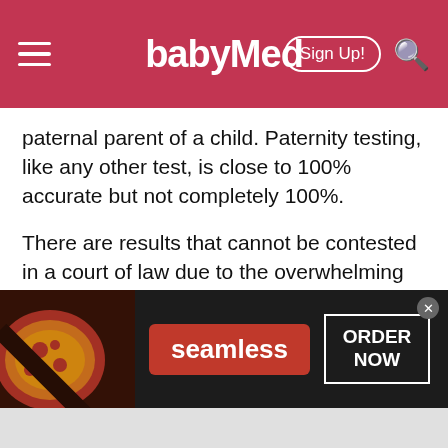babyMed
paternal parent of a child. Paternity testing, like any other test, is close to 100% accurate but not completely 100%.
There are results that cannot be contested in a court of law due to the overwhelming nature of the results. There are two forms of paternity testing results — exclusion and inclusion.
The exclusion paternity test can be considered
[Figure (screenshot): Seamless food delivery advertisement banner with pizza image, red Seamless logo, and ORDER NOW button]